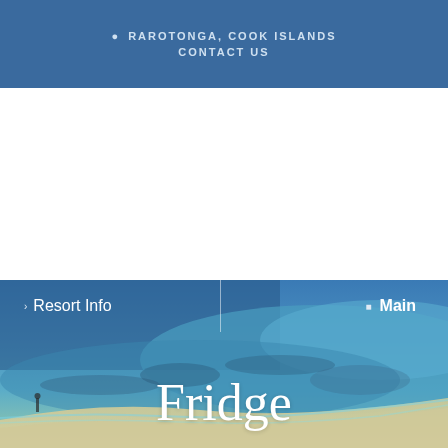📍 RAROTONGA, COOK ISLANDS
CONTACT US
[Figure (photo): Beach and turquoise ocean scene at Rarotonga, Cook Islands, with white sand and clear blue-green water, a small figure visible on the beach]
Resort Info
🏠 Main
Fridge